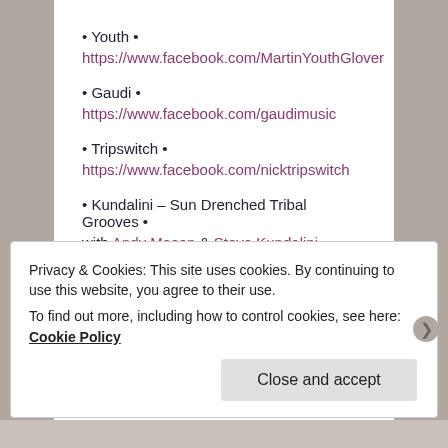• Youth •
https://www.facebook.com/MartinYouthGlover
• Gaudi •
https://www.facebook.com/gaudimusic
• Tripswitch •
https://www.facebook.com/nicktripswitch
• Kundalini – Sun Drenched Tribal Grooves •
with Andy Mason & Steve Kundalini.
Privacy & Cookies: This site uses cookies. By continuing to use this website, you agree to their use.
To find out more, including how to control cookies, see here: Cookie Policy
Close and accept